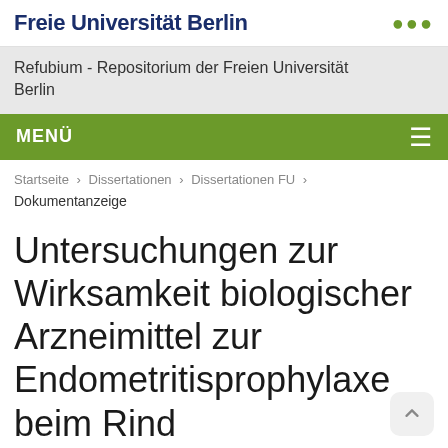Freie Universität Berlin
Refubium - Repositorium der Freien Universität Berlin
MENÜ
Startseite › Dissertationen › Dissertationen FU › Dokumentanzeige
Untersuchungen zur Wirksamkeit biologischer Arzneimittel zur Endometritisprophylaxe beim Rind
Metadaten